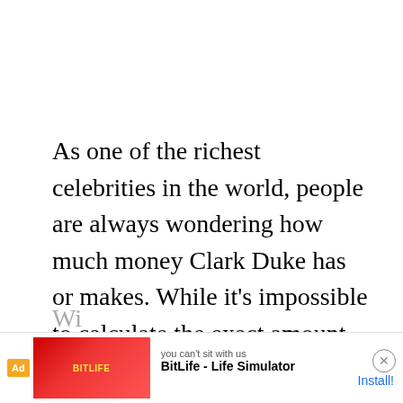As one of the richest celebrities in the world, people are always wondering how much money Clark Duke has or makes. While it's impossible to calculate the exact amount Clark Duke is worth, we can use publicly available information such as salary, investments, businesses, endorsements, and other income to estimate a net worth for 2022.
[Figure (screenshot): Advertisement banner for BitLife - Life Simulator app with red background, sperm cell graphic, and Install button]